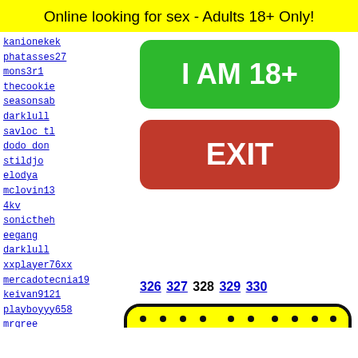Online looking for sex - Adults 18+ Only!
kanionekek
phatasses27
mons3r1
thecookie
seasonsab
darklull
savloc tl
dodo don
stildjo
elodya
mclovin13
4kv
sonictheh
eegang
darklull
xxplayer76xx
mercadotecnia19
keivan9121
playboyyy658
mrgree
hcca12
sneaky
morgul
capncr
yorksh
[Figure (illustration): Green rounded rectangle button reading I AM 18+]
[Figure (illustration): Red rounded rectangle button reading EXIT]
326 327 328 329 330
[Figure (illustration): Yellow rounded rectangle with black dot pattern and partial face illustration at bottom]